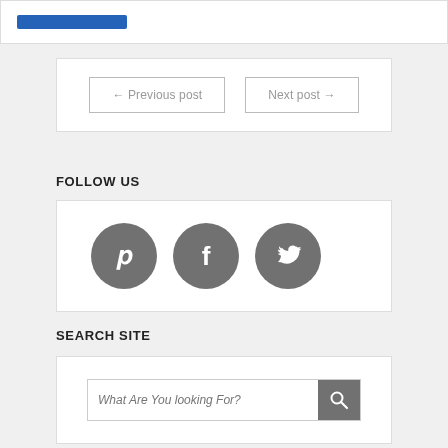[Figure (screenshot): Blue button/bar element at top of page]
← Previous post
Next post →
FOLLOW US
[Figure (infographic): Three gray circular social media icons: Pinterest, Facebook, Twitter]
SEARCH SITE
[Figure (screenshot): Search bar with placeholder text 'What Are You looking For?' and a gray search button with magnifying glass icon]